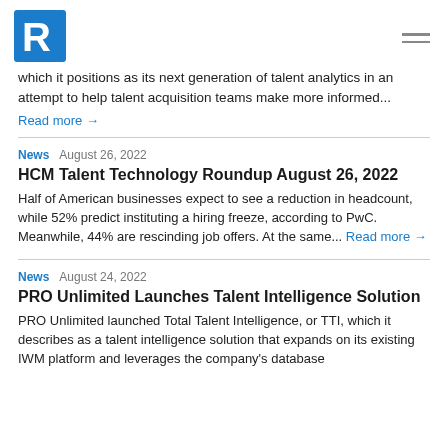R (logo)
which it positions as its next generation of talent analytics in an attempt to help talent acquisition teams make more informed...
Read more →
News   August 26, 2022
HCM Talent Technology Roundup August 26, 2022
Half of American businesses expect to see a reduction in headcount, while 52% predict instituting a hiring freeze, according to PwC. Meanwhile, 44% are rescinding job offers. At the same... Read more →
News   August 24, 2022
PRO Unlimited Launches Talent Intelligence Solution
PRO Unlimited launched Total Talent Intelligence, or TTI, which it describes as a talent intelligence solution that expands on its existing IWM platform and leverages the company's database